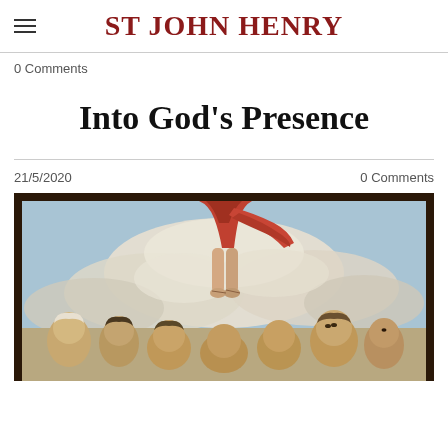ST JOHN HENRY
0 Comments
Into God's Presence
21/5/2020
0 Comments
[Figure (photo): A religious painting showing the Ascension of Jesus. The lower legs and bare feet of Christ in a red robe are visible ascending into clouds, while a group of apostles look upward from below.]